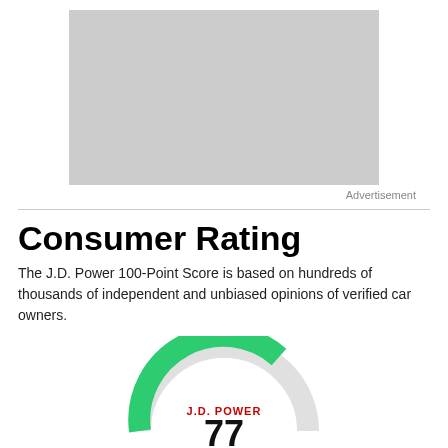[Figure (other): Grey advertisement placeholder rectangle]
Advertisement
[Figure (other): J.D. Power 100-point score gauge/dial showing score of 77, partially visible at bottom of page. The gauge has a dark outer ring, green filled arc indicating the score, and grey background arc. Center text reads J.D. POWER in red and 77 in large black bold numerals.]
Consumer Rating
The J.D. Power 100-Point Score is based on hundreds of thousands of independent and unbiased opinions of verified car owners.